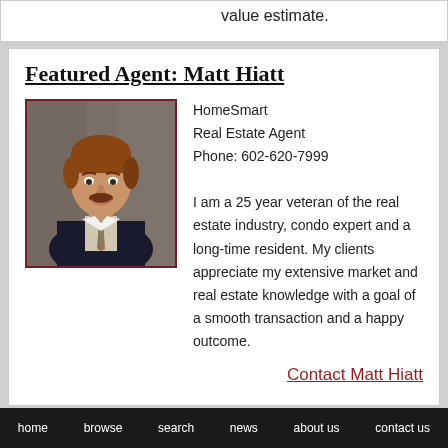value estimate.
Featured Agent: Matt Hiatt
[Figure (photo): Professional headshot of Matt Hiatt, a man in a dark suit with a tie, smiling, against a grey stone background.]
HomeSmart
Real Estate Agent
Phone: 602-620-7999

I am a 25 year veteran of the real estate industry, condo expert and a long-time resident. My clients appreciate my extensive market and real estate knowledge with a goal of a smooth transaction and a happy outcome.
Contact Matt Hiatt
home   browse   search   news   about us   contact us